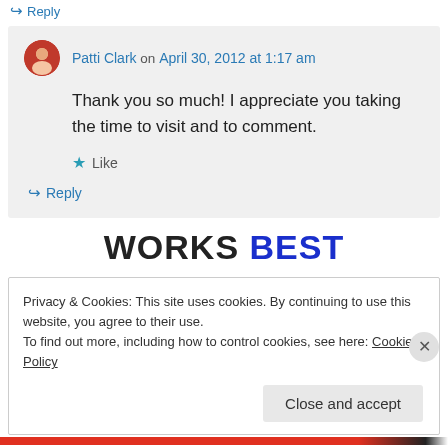↪ Reply
Patti Clark on April 30, 2012 at 1:17 am
Thank you so much! I appreciate you taking the time to visit and to comment.
★ Like
↪ Reply
[Figure (logo): Works Best logo text in black and dark blue uppercase bold letters]
Privacy & Cookies: This site uses cookies. By continuing to use this website, you agree to their use. To find out more, including how to control cookies, see here: Cookie Policy
Close and accept